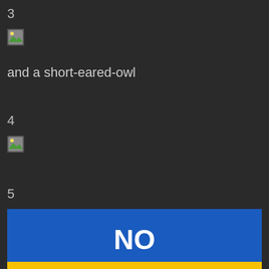3
[Figure (photo): Small broken image placeholder icon]
and a short-eared-owl
4
[Figure (photo): Small broken image placeholder icon]
5
[Figure (other): Blue button/banner with large white text 'NO' and yellow bar at bottom]